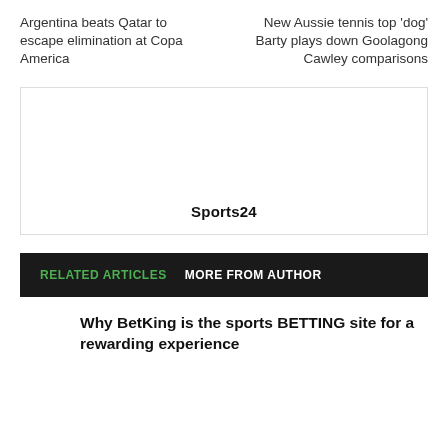Argentina beats Qatar to escape elimination at Copa America
New Aussie tennis top 'dog' Barty plays down Goolagong Cawley comparisons
[Figure (other): Advertisement box with 'Sports24' label centered at bottom]
RELATED ARTICLES   MORE FROM AUTHOR
Why BetKing is the sports BETTING site for a rewarding experience